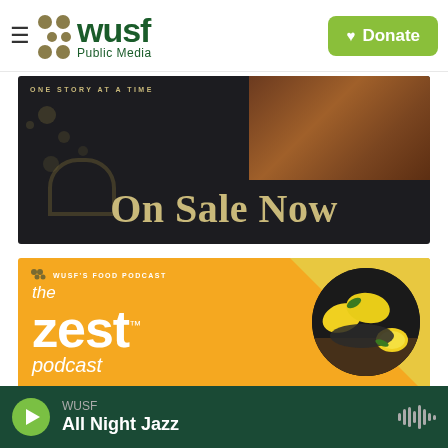WUSF Public Media — Donate
[Figure (screenshot): On Sale Now promotional banner with dark background, bokeh lights, wooden panel, and gold serif text reading 'On Sale Now'. Small text at top reads 'ONE STORY AT A TIME'.]
[Figure (screenshot): The Zest Podcast promotional banner on orange background with white italic text reading 'the zest™ podcast', WUSF's Food Podcast label at top, and circular image of lemons in a dark bowl on wooden surface.]
WUSF — All Night Jazz (player bar with play button and audio wave icon)